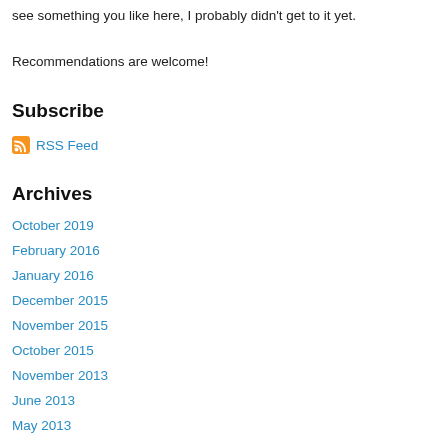see something you like here, I probably didn't get to it yet.
Recommendations are welcome!
Subscribe
RSS Feed
Archives
October 2019
February 2016
January 2016
December 2015
November 2015
October 2015
November 2013
June 2013
May 2013
March 2013
February 2013